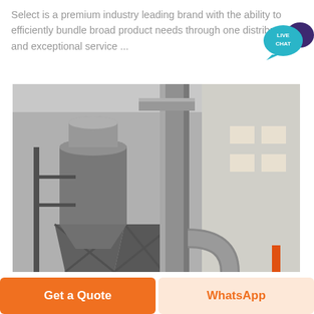Select is a premium industry leading brand with the ability to efficiently bundle broad product needs through one distributor and exceptional service ...
[Figure (photo): Industrial dust collection / cyclone separator system with large cylindrical hoppers, metal ductwork and piping at an industrial facility]
Get a Quote
WhatsApp